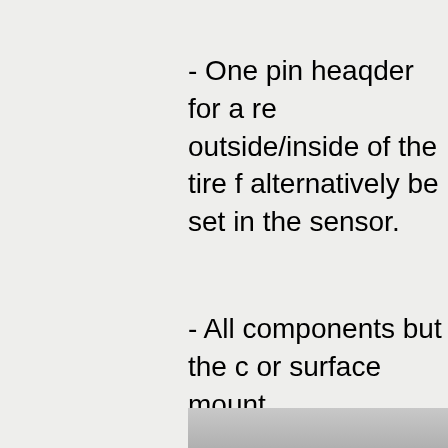- One pin heaqder for a re outside/inside of the tire f alternatively be set in the sensor.
- All components but the c or surface mount.
[Figure (photo): Partial view of a component or board visible at the bottom right of the page]